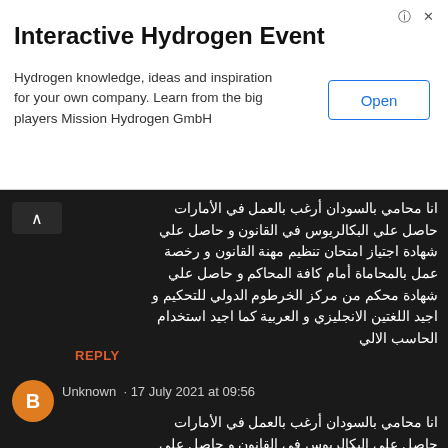[Figure (screenshot): Advertisement banner for Interactive Hydrogen Event with Open button]
Interactive Hydrogen Event
Hydrogen knowledge, ideas and inspiration for your own company. Learn from the big players Mission Hydrogen GmbH
Open
انا محامي بالسودان أرغب بالعمل في الأمارات حاصل علي البكالريوس في القانون و حاصل علي شهادة اجتياز امتحان تنظيم مهنة القانون و رخصة عمل بالمحاماة أمام كافة المحاكم و حاصل علي شهادة محكم من مركز الخرطوم الدولي للتحكيم و اجيد اللغتين الانجليزي و العربية كما اجيد استخدام الحاسب الالي
REPLY
Unknown · 17 July 2021 at 09:56
انا محامي بالسودان أرغب بالعمل في الأمارات حاصل علي البكالريوس في القانون و حاصل علي شهادة اجتياز امتحان تنظيم مهنة القانون و رخصة عمل بالمحاماة أمام كافة المحاكم و حاصل علي شهادة محكم من مركز الخرطوم الدولي للتحكيم و